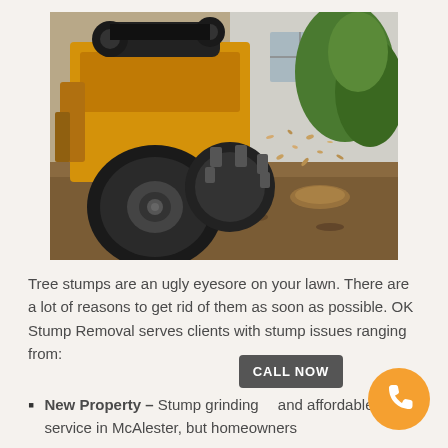[Figure (photo): A yellow stump grinding machine actively grinding a tree stump near a house, with wood chips flying in the air. A large rubber tire is visible in the foreground, and the grinding wheel with teeth is visible in the center. A white house with a window and green trees are visible in the background.]
Tree stumps are an ugly eyesore on your lawn. There are a lot of reasons to get rid of them as soon as possible. OK Stump Removal serves clients with stump issues ranging from:
New Property – Stump grinding and affordable service in McAlester, but homeowners